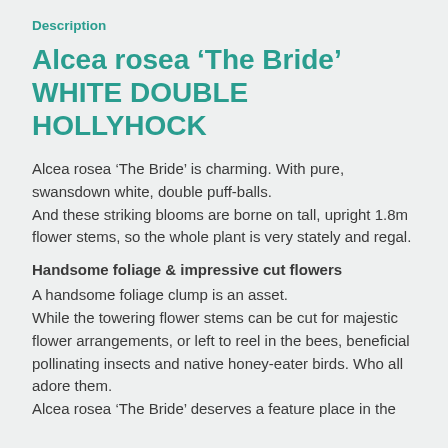Description
Alcea rosea ‘The Bride’ WHITE DOUBLE HOLLYHOCK
Alcea rosea ‘The Bride’ is charming. With pure, swansdown white, double puff-balls.
And these striking blooms are borne on tall, upright 1.8m flower stems, so the whole plant is very stately and regal.
Handsome foliage & impressive cut flowers
A handsome foliage clump is an asset.
While the towering flower stems can be cut for majestic flower arrangements, or left to reel in the bees, beneficial pollinating insects and native honey-eater birds. Who all adore them.
Alcea rosea ‘The Bride’ deserves a feature place in the